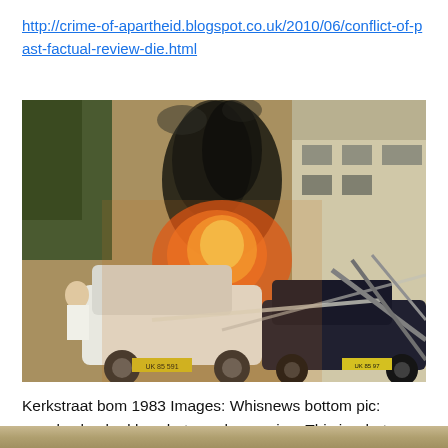http://crime-of-apartheid.blogspot.co.uk/2010/06/conflict-of-past-factual-review-die.html
[Figure (photo): Historical photograph showing the aftermath of the Kerkstraat bomb 1983 - a street scene with fire, smoke, damaged cars and debris, taken from Whisnews.]
Kerkstraat bom 1983 Images: Whisnews bottom pic: people shocked by what was happening. This is what Mandela organised.